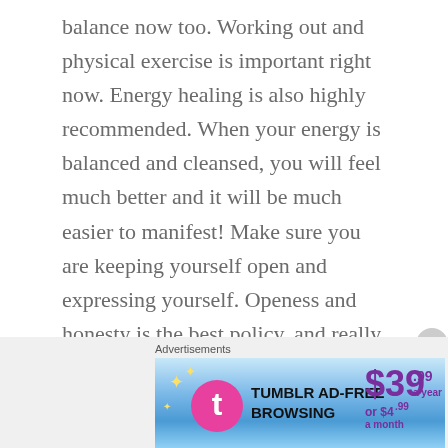balance now too. Working out and physical exercise is important right now. Energy healing is also highly recommended. When your energy is balanced and cleansed, you will feel much better and it will be much easier to manifest! Make sure you are keeping yourself open and expressing yourself. Openess and honesty is the best policy, and really the only way to have clear energy. If you are walking around with secrets, it's going to block your energy from manifesting good things and positive energy. Pay attention to your dreams because there might be some keys of information there on how to resolve issues. The dream itself might be a processing of emotions. If you have a vivid dream, write the details
[Figure (other): Tumblr Ad-Free Browsing advertisement banner: $39.99 a year or $4.99 a month, with Tumblr logo and sparkle stars]